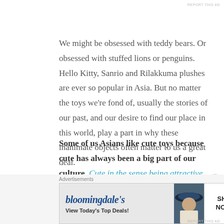We might be obsessed with teddy bears. Or obsessed with stuffed lions or penguins. Hello Kitty, Sanrio and Rilakkuma plushes are ever so popular in Asia. But no matter the toys we're fond of, usually the stories of our past, and our desire to find our place in this world, play a part in why these inanimate objects often matter to us a great deal.
Some of us Asians like cute toys because cute has always been a big part of our culture. Cute in the sense being attractive in a delicate, dainty way,
Advertisements
[Figure (other): Bloomingdale's advertisement banner: 'View Today's Top Deals!' with SHOP NOW button and woman in hat image]